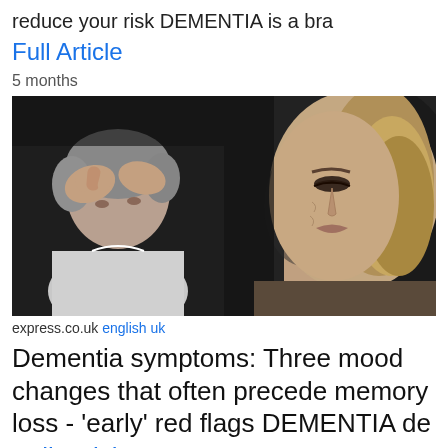reduce your risk DEMENTIA is a bra
Full Article
5 months
[Figure (photo): Two side-by-side photos of elderly people showing distress and sadness related to dementia]
express.co.uk english uk
Dementia symptoms: Three mood changes that often precede memory loss - 'early' red flags DEMENTIA de